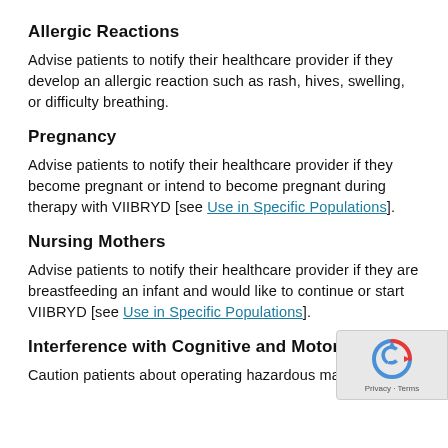Allergic Reactions
Advise patients to notify their healthcare provider if they develop an allergic reaction such as rash, hives, swelling, or difficulty breathing.
Pregnancy
Advise patients to notify their healthcare provider if they become pregnant or intend to become pregnant during therapy with VIIBRYD [see Use in Specific Populations].
Nursing Mothers
Advise patients to notify their healthcare provider if they are breastfeeding an infant and would like to continue or start VIIBRYD [see Use in Specific Populations].
Interference with Cognitive and Motor Perfor…
Caution patients about operating hazardous machinery…